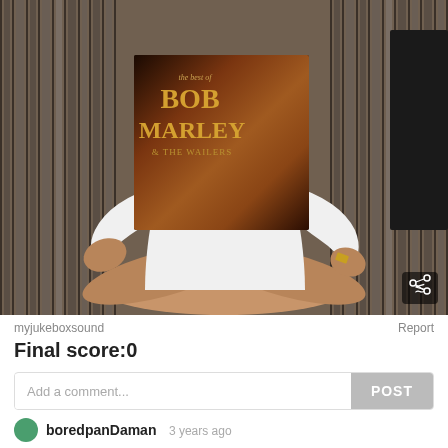[Figure (photo): Person sitting cross-legged holding up a Bob Marley & The Wailers 'The Best Of' vinyl record album cover in front of their face, wearing a white long-sleeve shirt, in front of shelves of vinyl records. A share button icon is visible in the bottom right of the photo.]
myjukeboxsound
Report
Final score:0
Add a comment...
POST
boredpanDaman  3 years ago